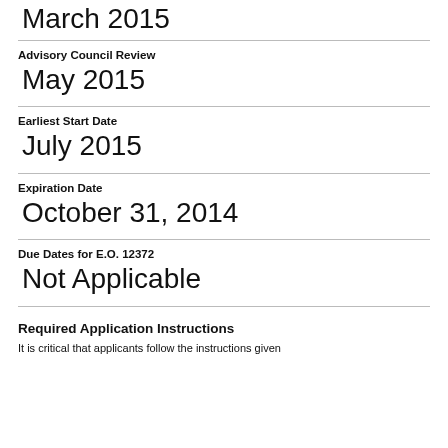March 2015
Advisory Council Review
May 2015
Earliest Start Date
July 2015
Expiration Date
October 31, 2014
Due Dates for E.O. 12372
Not Applicable
Required Application Instructions
It is critical that applicants follow the instructions given…